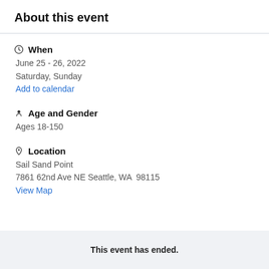About this event
When
June 25 - 26, 2022
Saturday, Sunday
Add to calendar
Age and Gender
Ages 18-150
Location
Sail Sand Point
7861 62nd Ave NE Seattle, WA  98115
View Map
This event has ended.